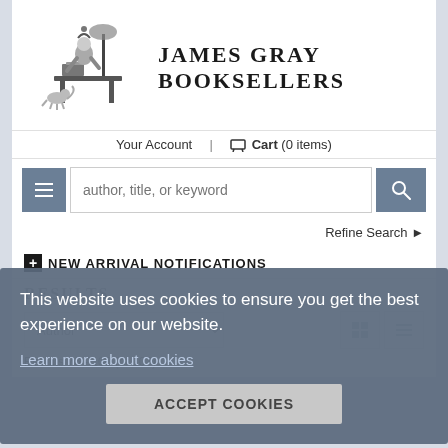[Figure (logo): James Gray Booksellers logo: medieval scribe at desk illustration]
James Gray Booksellers
Your Account | Cart (0 items)
author, title, or keyword (search input placeholder)
Refine Search
+ NEW ARRIVAL NOTIFICATIONS
RESULTS
Author (sort dropdown)
Results 76 - 100 (of 107)
This website uses cookies to ensure you get the best experience on our website.
Learn more about cookies
ACCEPT COOKIES